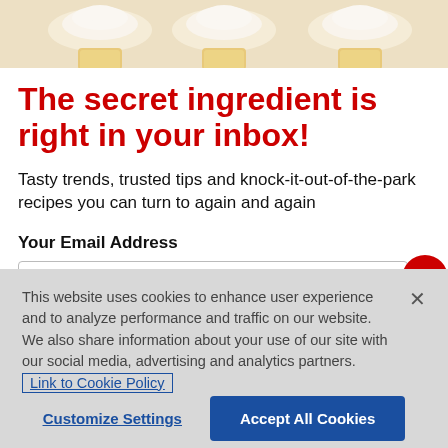[Figure (photo): Top portion of cupcakes/baked goods, cream-colored with paper liners, cropped at bottom of image strip]
The secret ingredient is right in your inbox!
Tasty trends, trusted tips and knock-it-out-of-the-park recipes you can turn to again and again
Your Email Address
This website uses cookies to enhance user experience and to analyze performance and traffic on our website. We also share information about your use of our site with our social media, advertising and analytics partners. Link to Cookie Policy
Customize Settings
Accept All Cookies